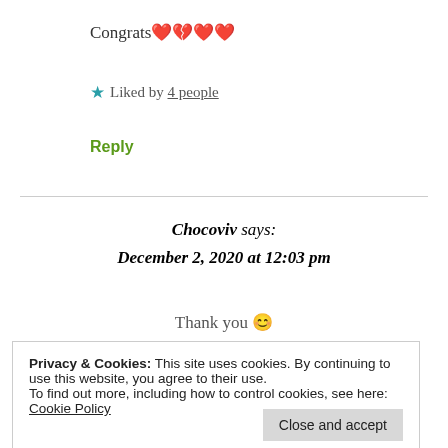Congrats ❤️💔❤️❤️
★ Liked by 4 people
Reply
Chocoviv says: December 2, 2020 at 12:03 pm
Thank you 😊
Privacy & Cookies: This site uses cookies. By continuing to use this website, you agree to their use. To find out more, including how to control cookies, see here: Cookie Policy